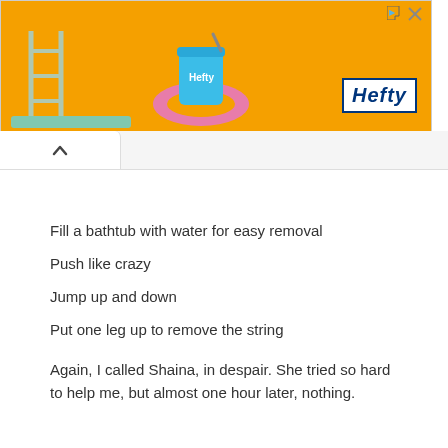[Figure (screenshot): Orange Hefty brand advertisement banner with a blue cup/bucket with a pink flamingo float ring, and the Hefty logo in white on blue background, with close/ad icons in the top right.]
Fill a bathtub with water for easy removal
Push like crazy
Jump up and down
Put one leg up to remove the string
Again, I called Shaina, in despair. She tried so hard to help me, but almost one hour later, nothing.